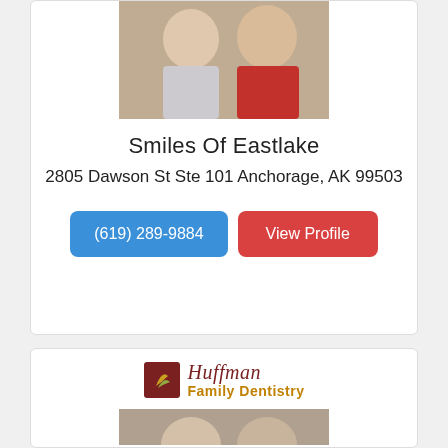[Figure (photo): Photo of two men smiling, one in white shirt and one in red turtleneck with black jacket]
Smiles Of Eastlake
2805 Dawson St Ste 101 Anchorage, AK 99503
(619) 289-9884
View Profile
[Figure (logo): Huffman Family Dentistry logo with dark red icon and italic script name]
[Figure (photo): Black and white photo of two men, partially visible at bottom of page]